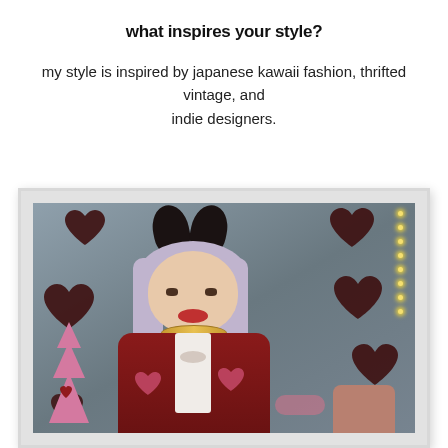what inspires your style?
my style is inspired by japanese kawaii fashion, thrifted vintage, and indie designers.
[Figure (photo): A person with light purple-gray hair wearing bunny ears, a dark red heart-patterned jacket, and a gold necklace, posed in front of a background decorated with large dark chocolate-colored heart balloons, a pink fluffy Christmas tree, string lights, and a cushion. The photo has a white polaroid-style border.]